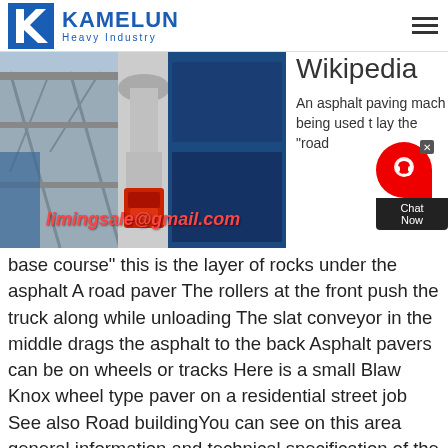[Figure (logo): Kamelun Heavy Industry logo with blue K icon and blue text]
[Figure (photo): Industrial machinery photo showing large equipment in a factory/plant setting with email overlay limingsale@gmail.com]
Wikipedia
An asphalt paving mach being used t lay the "road base course" this is the layer of rocks under the asphalt A road paver The rollers at the front push the truck along while unloading The slat conveyor in the middle drags the asphalt to the back Asphalt pavers can be on wheels or tracks Here is a small Blaw Knox wheel type paver on a residential street job See also Road buildingYou can see on this area general information and technical specification of the machines which are producing paving blocks and curbstones Paving Block Machine can make double sided press One layer for